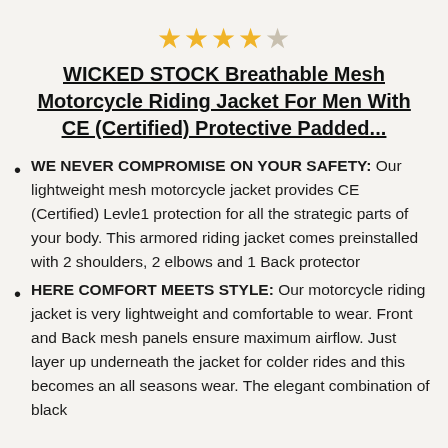[Figure (other): 4 filled gold stars and 1 empty/outline star rating]
WICKED STOCK Breathable Mesh Motorcycle Riding Jacket For Men With CE (Certified) Protective Padded...
WE NEVER COMPROMISE ON YOUR SAFETY: Our lightweight mesh motorcycle jacket provides CE (Certified) Levle1 protection for all the strategic parts of your body. This armored riding jacket comes preinstalled with 2 shoulders, 2 elbows and 1 Back protector
HERE COMFORT MEETS STYLE: Our motorcycle riding jacket is very lightweight and comfortable to wear. Front and Back mesh panels ensure maximum airflow. Just layer up underneath the jacket for colder rides and this becomes an all seasons wear. The elegant combination of black